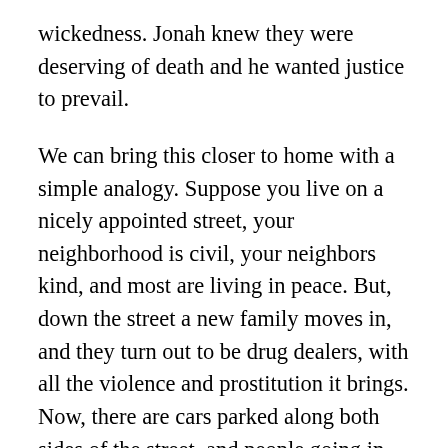wickedness.  Jonah knew they were deserving of death and he wanted justice to prevail.
We can bring this closer to home with a simple analogy.  Suppose you live on a nicely appointed street, your neighborhood is civil, your neighbors kind, and most are living in peace.  But, down the street a new family moves in, and they turn out to be drug dealers, with all the violence and prostitution it brings.  Now, there are cars parked along both sides of the street, and people going in and out at all hours of the day and night.
Soon, your children begin displaying signs of drug use.  Soon, others go missing.  Then, police are constantly